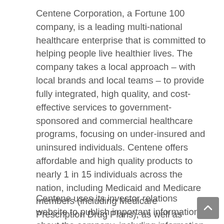Centene Corporation, a Fortune 100 company, is a leading multi-national healthcare enterprise that is committed to helping people live healthier lives. The company takes a local approach – with local brands and local teams – to provide fully integrated, high quality, and cost-effective services to government-sponsored and commercial healthcare programs, focusing on under-insured and uninsured individuals. Centene offers affordable and high quality products to nearly 1 in 15 individuals across the nation, including Medicaid and Medicare members (including Medicare Prescription Drug Plans), as well as individuals and families served by the Health Insurance Marketplace, the TRICARE program and individuals in correctional facilities. The Company also serves several international markets, and contracts with other healthcare and commercial organizations to provide a variety of specialty services focused on treating the whole person. Centene focuses on long-term growth and the development of its people, systems and capabilities so that it can better serve its members, providers, local communities and government partners.
Centene uses its investor relations website to publish important information about the company, including information that may